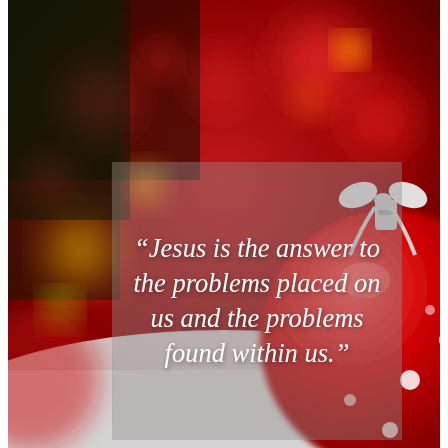[Figure (photo): Blurred bokeh background with red and yellow light orbs simulating Christmas ornament bokeh, dark green tones, and a large red Christmas ornament with white polka dots and a decorative silver bow/cap on the right side. Snowy white surface at the bottom.]
"Jesus is the answer to the problems placed on us and the problems found within us."